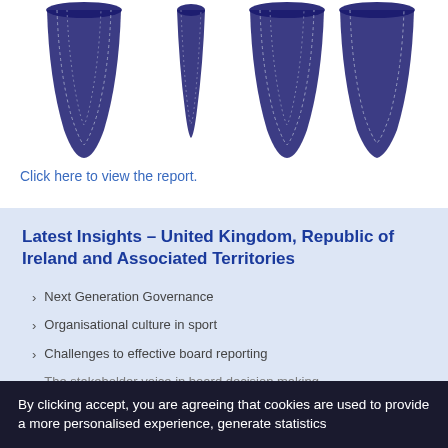[Figure (illustration): Decorative image showing dark navy blue draped fabric or medal/trophy shapes hanging from the top of the page]
Click here to view the report.
Latest Insights – United Kingdom, Republic of Ireland and Associated Territories
Next Generation Governance
Organisational culture in sport
Challenges to effective board reporting
The stakeholder voice in board decision making
By clicking accept, you are agreeing that cookies are used to provide a more personalised experience, generate statistics